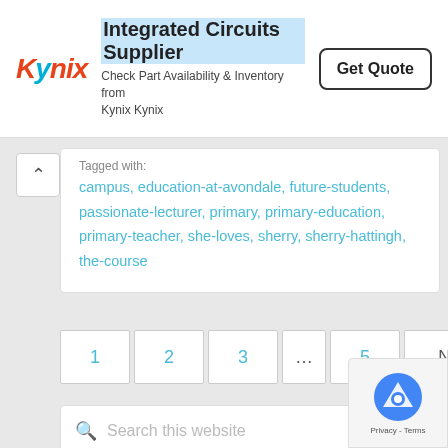[Figure (other): Kynix Integrated Circuits Supplier advertisement banner with logo, description text, and Get Quote button]
Tagged with: campus, education-at-avondale, future-students, passionate-lecturer, primary, primary-education, primary-teacher, she-loves, sherry, sherry-hattingh, the-course
1
2
3
...
5
Next Page »
Search this website